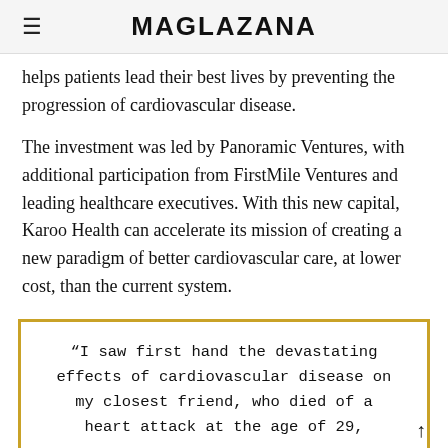MAGLAZANA
helps patients lead their best lives by preventing the progression of cardiovascular disease.
The investment was led by Panoramic Ventures, with additional participation from FirstMile Ventures and leading healthcare executives. With this new capital, Karoo Health can accelerate its mission of creating a new paradigm of better cardiovascular care, at lower cost, than the current system.
“I saw first hand the devastating effects of cardiovascular disease on my closest friend, who died of a heart attack at the age of 29,